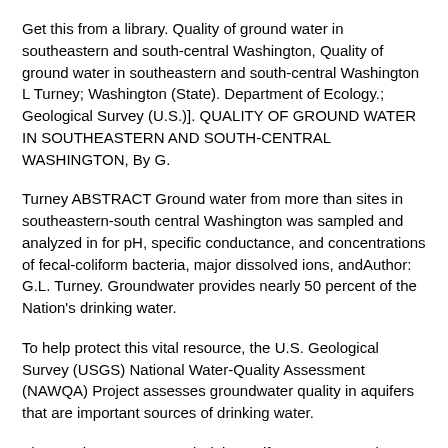Get this from a library. Quality of ground water in southeastern and south-central Washington, Quality of ground water in southeastern and south-central Washington L Turney; Washington (State). Department of Ecology.; Geological Survey (U.S.)]. QUALITY OF GROUND WATER IN SOUTHEASTERN AND SOUTH-CENTRAL WASHINGTON, By G.
Turney ABSTRACT Ground water from more than sites in southeastern-south central Washington was sampled and analyzed in for pH, specific conductance, and concentrations of fecal-coliform bacteria, major dissolved ions, andAuthor: G.L. Turney. Groundwater provides nearly 50 percent of the Nation's drinking water.
To help protect this vital resource, the U.S. Geological Survey (USGS) National Water-Quality Assessment (NAWQA) Project assesses groundwater quality in aquifers that are important sources of drinking water.
The Southeastern Coastal Plain aquifer system constitutes one Cited by: 1. Selected Ground Water